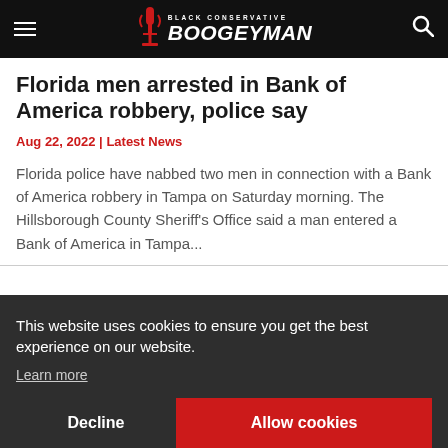Black Conservative Boogeyman
Florida men arrested in Bank of America robbery, police say
Aug 22, 2022 | Latest News
Florida police have nabbed two men in connection with a Bank of America robbery in Tampa on Saturday morning. The Hillsborough County Sheriff's Office said a man entered a Bank of America in Tampa...
This website uses cookies to ensure you get the best experience on our website.
Learn more
Decline
Allow cookies